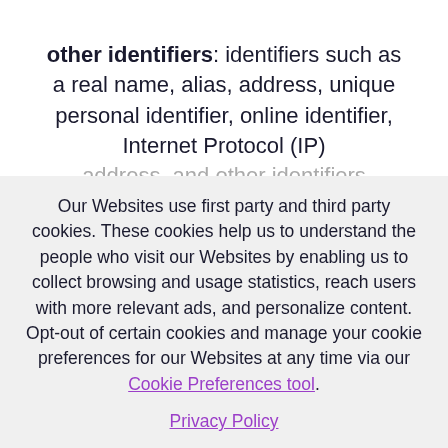other identifiers: identifiers such as a real name, alias, address, unique personal identifier, online identifier, Internet Protocol (IP) address, and other identifiers
Our Websites use first party and third party cookies. These cookies help us to understand the people who visit our Websites by enabling us to collect browsing and usage statistics, reach users with more relevant ads, and personalize content. Opt-out of certain cookies and manage your cookie preferences for our Websites at any time via our Cookie Preferences tool.
Privacy Policy
OK